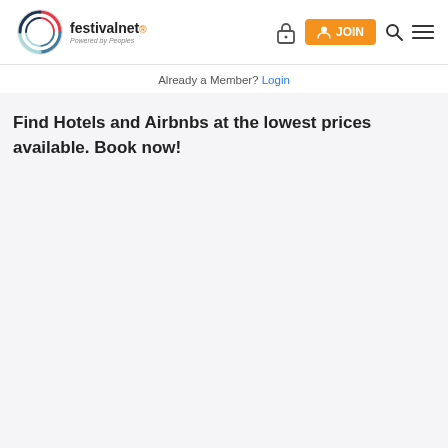festivalnet. Powered by Peoples — JOIN
Already a Member? Login
Find Hotels and Airbnbs at the lowest prices available. Book now!